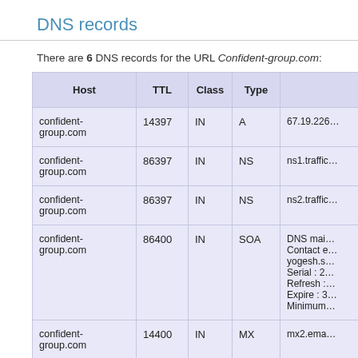DNS records
There are 6 DNS records for the URL Confident-group.com:
| Host | TTL | Class | Type |  |
| --- | --- | --- | --- | --- |
| confident-group.com | 14397 | IN | A | 67.19.226… |
| confident-group.com | 86397 | IN | NS | ns1.traffic… |
| confident-group.com | 86397 | IN | NS | ns2.traffic… |
| confident-group.com | 86400 | IN | SOA | DNS mai… Contact e… yogesh.s… Serial : 2… Refresh :… Expire : 3… Minimum… |
| confident-group.com | 14400 | IN | MX | mx2.ema… |
| confident-… | 14400… | IN | MX… | … |